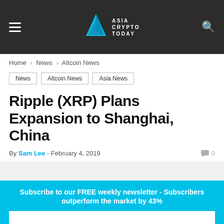Asia Crypto Today
Home > News > Altcoin News
News
Altcoin News
Asia News
Ripple (XRP) Plans Expansion to Shanghai, China
By Sam Lee - February 4, 2019  0
Subscribe to our FREE weekly newsletter - Subscribers outperform the market by 43%